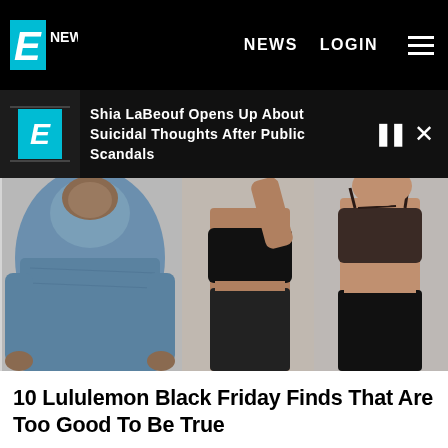E! NEWS  NEWS  LOGIN
Shia LaBeouf Opens Up About Suicidal Thoughts After Public Scandals
[Figure (photo): Three lululemon athletic wear models: a man in a blue hoodie on the left, a woman in a black sports bra and leggings in the middle with arm raised, and a woman in a dark patterned sports bra and black leggings on the right]
10 Lululemon Black Friday Finds That Are Too Good To Be True